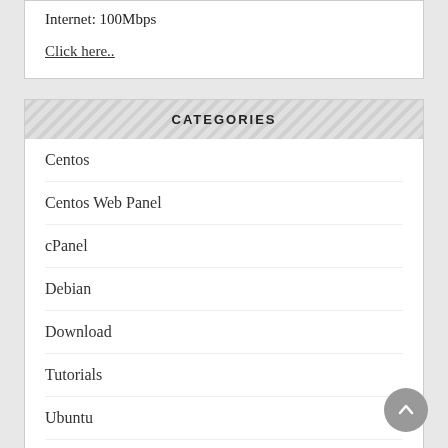Internet: 100Mbps
Click here..
CATEGORIES
Centos
Centos Web Panel
cPanel
Debian
Download
Tutorials
Ubuntu
Vesta Panel
Webmin
Webserver